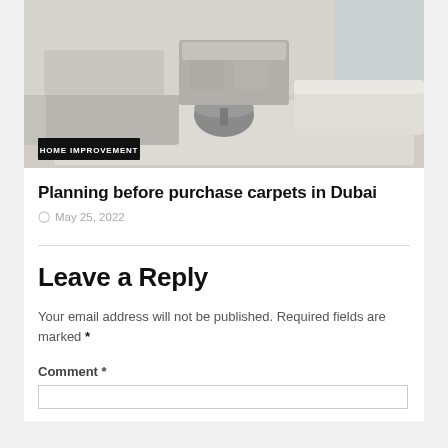[Figure (photo): Interior living room with gray sofa, round coffee table, and white ottoman on a light rug]
Planning before purchase carpets in Dubai
May 25, 2022
Leave a Reply
Your email address will not be published. Required fields are marked *
Comment *